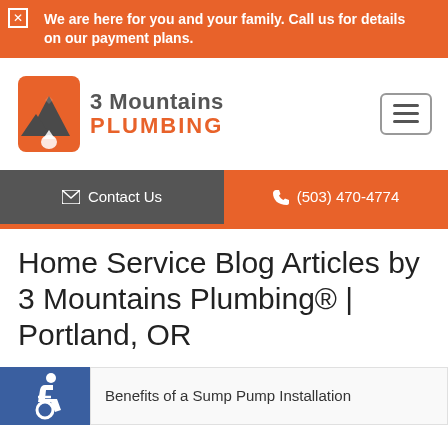We are here for you and your family. Call us for details on our payment plans.
[Figure (logo): 3 Mountains Plumbing logo with mountain/water icon in orange and dark gray]
Contact Us
(503) 470-4774
Home Service Blog Articles by 3 Mountains Plumbing® | Portland, OR
Benefits of a Sump Pump Installation